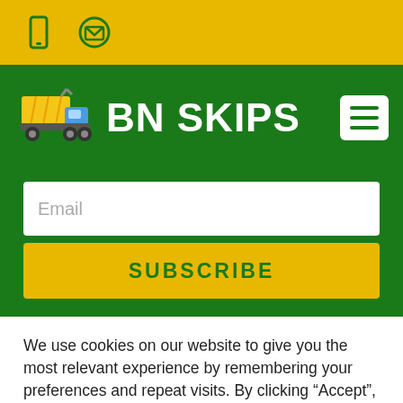[mobile icon] [email icon]
BN SKIPS
[Figure (illustration): Cartoon dump truck / skip lorry icon in yellow and blue]
Email
SUBSCRIBE
We use cookies on our website to give you the most relevant experience by remembering your preferences and repeat visits. By clicking “Accept”, you consent to the use of ALL the cookies.
Cookie settings
ACCEPT